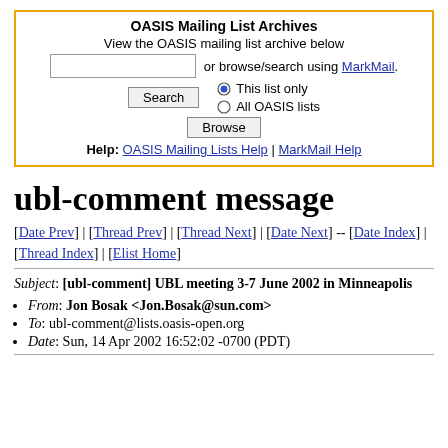[Figure (other): OASIS Mailing List Archives search widget with text input, Search button, Browse button, radio buttons for 'This list only' and 'All OASIS lists', and help links.]
ubl-comment message
[Date Prev] | [Thread Prev] | [Thread Next] | [Date Next] -- [Date Index] | [Thread Index] | [Elist Home]
Subject: [ubl-comment] UBL meeting 3-7 June 2002 in Minneapolis
From: Jon Bosak <Jon.Bosak@sun.com>
To: ubl-comment@lists.oasis-open.org
Date: Sun, 14 Apr 2002 16:52:02 -0700 (PDT)